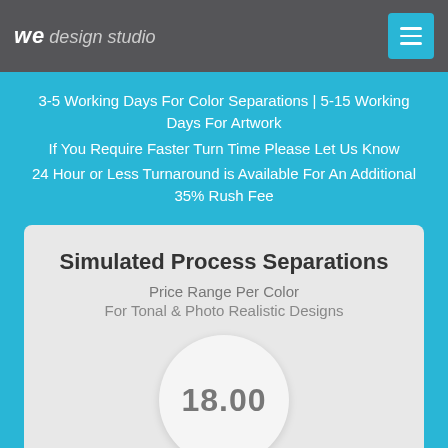we design studio
3-5 Working Days For Color Separations | 5-15 Working Days For Artwork
If You Require Faster Turn Time Please Let Us Know
24 Hour or Less Turnaround is Available For An Additional 35% Rush Fee
Simulated Process Separations
Price Range Per Color
For Tonal & Photo Realistic Designs
18.00
1 Color $18.00-$22.00